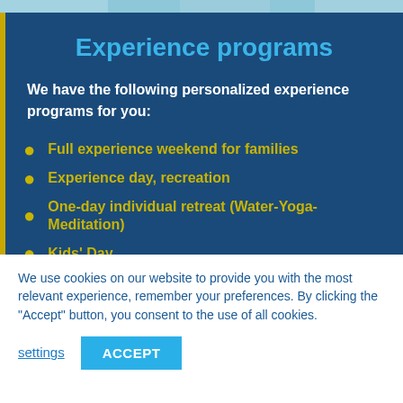[Figure (photo): Top image strip showing a pool or water area]
Experience programs
We have the following personalized experience programs for you:
Full experience weekend for families
Experience day, recreation
One-day individual retreat (Water-Yoga-Meditation)
Kids' Day
We use cookies on our website to provide you with the most relevant experience, remember your preferences. By clicking the "Accept" button, you consent to the use of all cookies.
settings   ACCEPT